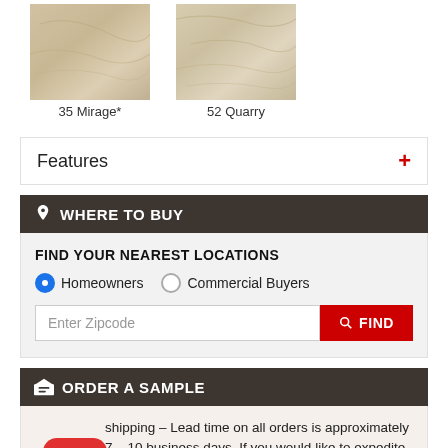[Figure (photo): Two tile/stone texture samples side by side: '35 Mirage*' on left and '52 Quarry' on right, both beige/tan stone textures]
35 Mirage*
52 Quarry
Features +
WHERE TO BUY
FIND YOUR NEAREST LOCATIONS
Homeowners   Commercial Buyers
Enter Zipcode   FIND
ORDER A SAMPLE
shipping – Lead time on all orders is approximately 7 – 10 business days. If you would like to expedite your order using your Fed Ex account #, then DO NOT PLACE ORDER